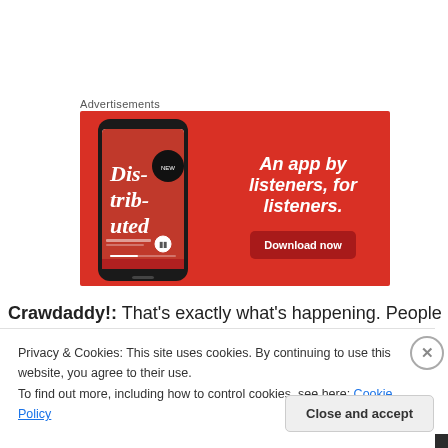Advertisements
[Figure (illustration): Advertisement banner with red background showing a smartphone displaying the 'Dis-trib-uted' podcast app. Text on the right reads 'An app by listeners, for listeners.' with a 'Download now' button.]
Crawdaddy!: That's exactly what's happening. People
Privacy & Cookies: This site uses cookies. By continuing to use this website, you agree to their use.
To find out more, including how to control cookies, see here: Cookie Policy
Close and accept